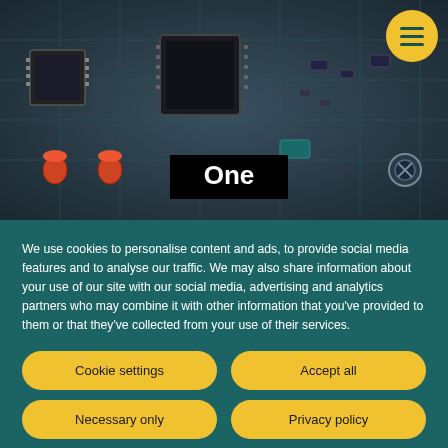[Figure (photo): Close-up photo of an electronic circuit board (PCB) with various components — chips, capacitors, and connectors — in dark teal/blue tones, with text overlay 'One' in white bold font on a black background rectangle, and a yellow circular menu button in the top-right corner]
We use cookies to personalise content and ads, to provide social media features and to analyse our traffic. We may also share information about your use of our site with our social media, advertising and analytics partners who may combine it with other information that you've provided to them or that they've collected from your use of their services.
Cookie settings
Accept all
Necessary only
Privacy policy